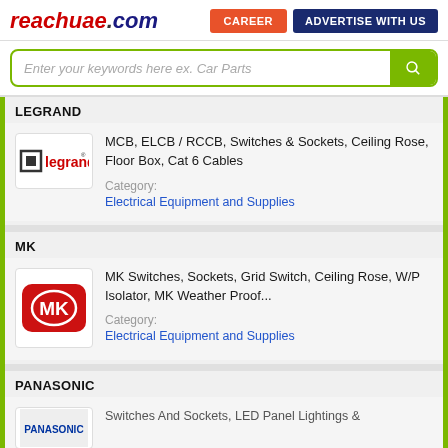reachuae.com | CAREER | ADVERTISE WITH US
Enter your keywords here ex. Car Parts
LEGRAND
[Figure (logo): Legrand brand logo with square icon and text 'legrand']
MCB, ELCB / RCCB, Switches & Sockets, Ceiling Rose, Floor Box, Cat 6 Cables
Category: Electrical Equipment and Supplies
MK
[Figure (logo): MK brand logo red rounded rectangle with MK letters]
MK Switches, Sockets, Grid Switch, Ceiling Rose, W/P Isolator, MK Weather Proof...
Category: Electrical Equipment and Supplies
PANASONIC
Switches And Sockets, LED Panel Lightings &